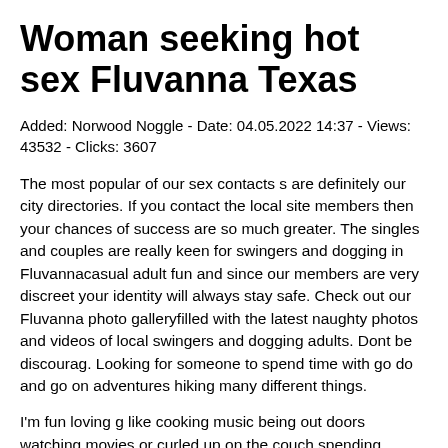Woman seeking hot sex Fluvanna Texas
Added: Norwood Noggle - Date: 04.05.2022 14:37 - Views: 43532 - Clicks: 3607
The most popular of our sex contacts s are definitely our city directories. If you contact the local site members then your chances of success are so much greater. The singles and couples are really keen for swingers and dogging in Fluvannacasual adult fun and since our members are very discreet your identity will always stay safe. Check out our Fluvanna photo galleryfilled with the latest naughty photos and videos of local swingers and dogging adults. Dont be discourag. Looking for someone to spend time with go do and go on adventures hiking many different things.
I'm fun loving g like cooking music being out doors watching movies or curled up on the couch spending special time toge.
Extremely into ORAL sex,giving n receiving,looking for women